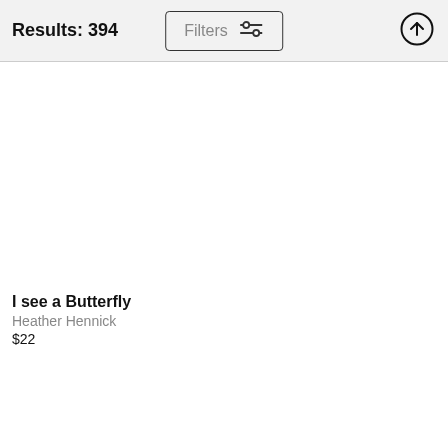Results: 394
I see a Butterfly
Heather Hennick
$22